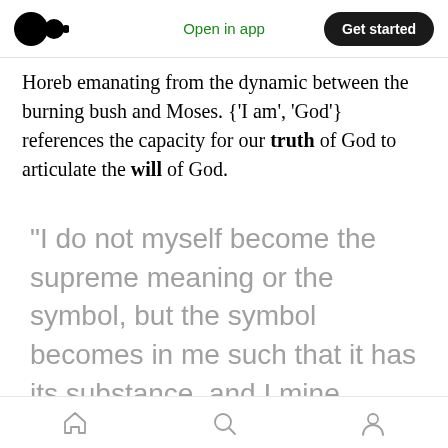Medium logo | Open in app | Get started
Horeb emanating from the dynamic between the burning bush and Moses. {'I am', 'God'} references the capacity for our truth of God to articulate the will of God.
“I do not myself become the supreme meaning or the symbol, but the symbol becomes in me such that it has its substance, and I mine…
Home | Search | Profile